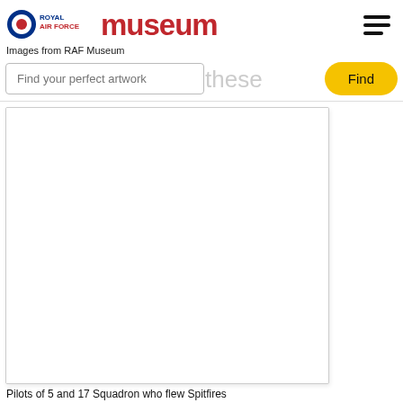[Figure (logo): Royal Air Force Museum logo with RAF roundel icon, text 'ROYAL AIR FORCE' in navy and red, and 'museum' in large red bold text]
Images from RAF Museum
[Figure (screenshot): Search bar with placeholder text 'Find your perfect artwork', faded text 'these' visible behind, and a yellow rounded 'Find' button]
[Figure (photo): Large white/blank image placeholder in a bordered card]
Pilots of 5 and 17 Squadron who flew Spitfires